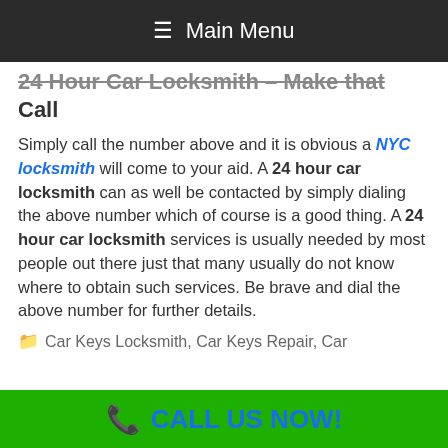≡ Main Menu
24 Hour Car Locksmith – Make that Call
Simply call the number above and it is obvious a NYC locksmith will come to your aid. A 24 hour car locksmith can as well be contacted by simply dialing the above number which of course is a good thing. A 24 hour car locksmith services is usually needed by most people out there just that many usually do not know where to obtain such services. Be brave and dial the above number for further details.
🗂 Car Keys Locksmith, Car Keys Repair, Car
📞 CALL US NOW!